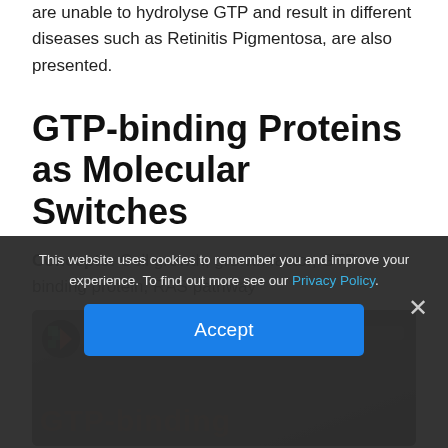are unable to hydrolyse GTP and result in different diseases such as Retinitis Pigmentosa, are also presented.
GTP-binding Proteins as Molecular Switches
Concepts: Cell growth, growth factor, GTP-binding protein, RAS pathway
[Figure (screenshot): Video thumbnail with a dark background, a circular logo icon in the top-left, and large partially visible text in the lower portion.]
This website uses cookies to remember you and improve your experience. To find out more see our Privacy Policy. [Accept button]